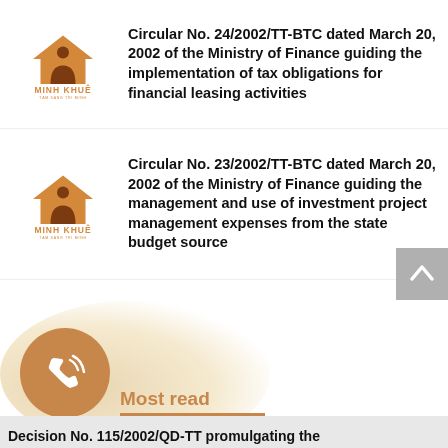Circular No. 24/2002/TT-BTC dated March 20, 2002 of the Ministry of Finance guiding the implementation of tax obligations for financial leasing activities
Circular No. 23/2002/TT-BTC dated March 20, 2002 of the Ministry of Finance guiding the management and use of investment project management expenses from the state budget source
Decision No. 212/2002/QD-NHNN of the State Bank, promulgating the technical process for inter-bank electronic clearing payment
Most read
Decision No. 115/2002/QD-TT promulgating the...